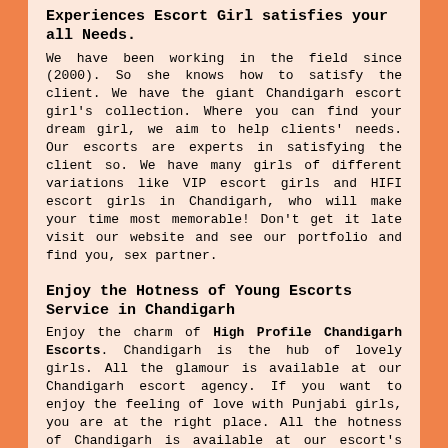Experiences Escort Girl satisfies your all Needs.
We have been working in the field since (2000). So she knows how to satisfy the client. We have the giant Chandigarh escort girl's collection. Where you can find your dream girl, we aim to help clients' needs. Our escorts are experts in satisfying the client so. We have many girls of different variations like VIP escort girls and HIFI escort girls in Chandigarh, who will make your time most memorable! Don't get it late visit our website and see our portfolio and find you, sex partner.
Enjoy the Hotness of Young Escorts Service in Chandigarh
Enjoy the charm of High Profile Chandigarh Escorts. Chandigarh is the hub of lovely girls. All the glamour is available at our Chandigarh escort agency. If you want to enjoy the feeling of love with Punjabi girls, you are at the right place. All the hotness of Chandigarh is available at our escort's agency. You like to hang out with girls and enjoy the night's fun. So you can book call girls in Chandigarh for some hours and the night as per your need. Enhance the fun of the night with spicy Chandigarh escorts; she will make your all dream come true. Our all girls are service experts; she fills the